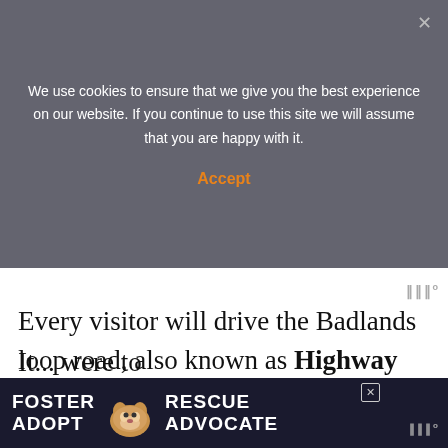We use cookies to ensure that we give you the best experience on our website. If you continue to use this site we will assume that you are happy with it.
Accept
Every visitor will drive the Badlands loop road, also known as Highway 240. The 240 begins at the Northeast entrance and ends at Wall (via the Pinnacle entrance).
This 40 mile scenic tour is one of the best fuel consumption to quality of scenery ratio... likely to experience!
It... were to
[Figure (infographic): Ad banner at the bottom: dark navy background with FOSTER ADOPT text on left, a beagle dog illustration in center, and RESCUE ADVOCATE on right in white bold text]